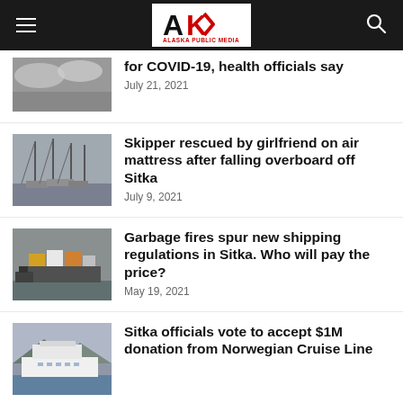Alaska Public Media navigation bar
for COVID-19, health officials say — July 21, 2021
Skipper rescued by girlfriend on air mattress after falling overboard off Sitka
July 9, 2021
Garbage fires spur new shipping regulations in Sitka. Who will pay the price?
May 19, 2021
Sitka officials vote to accept $1M donation from Norwegian Cruise Line